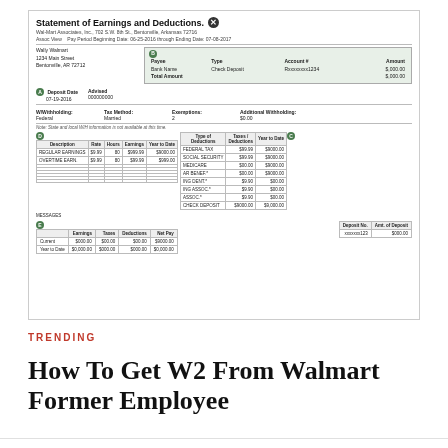[Figure (screenshot): Wal-Mart Statement of Earnings and Deductions document showing employee pay information for Wally Walmart. Includes pay period dates 06-25-2016 through 07-08-2017, deposit information, withholding details, earnings table with Regular Earnings and Overtime rows, deductions table with Federal Tax, Social Security, Medicare, and other items, and a summary section.]
TRENDING
How To Get W2 From Walmart Former Employee